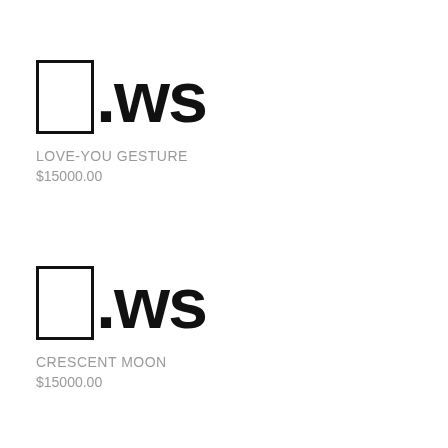[Figure (logo): Emoji box with .ws text logo - Love-You Gesture domain listing]
LOVE-YOU GESTURE
$15000.00
[Figure (logo): Emoji box with .ws text logo - Crescent Moon domain listing]
CRESCENT MOON
$15000.00